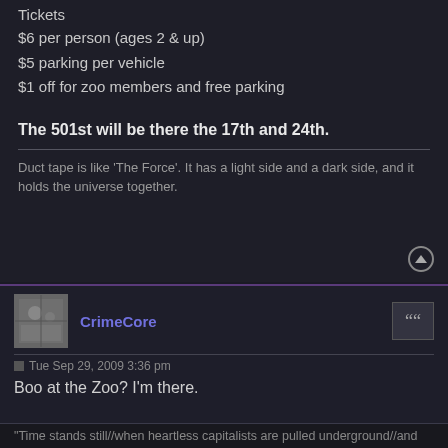Tickets
$6 per person (ages 2 & up)
$5 parking per vehicle
$1 off for zoo members and free parking
The 501st will be there the 17th and 24th.
Duct tape is like 'The Force'. It has a light side and a dark side, and it holds the universe together.
CrimeCore
Tue Sep 29, 2009 3:36 pm
Boo at the Zoo? I'm there.
"Time stands still//when heartless capitalists are pulled underground//and